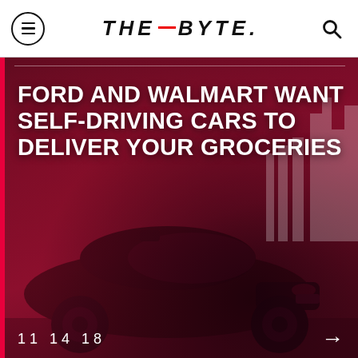THE_BYTE.
[Figure (photo): Dark red tinted photo of a Ford self-driving car on a road with a city skyline in the background. The image has a deep crimson/maroon color overlay.]
FORD AND WALMART WANT SELF-DRIVING CARS TO DELIVER YOUR GROCERIES
11 14 18
READ MORE